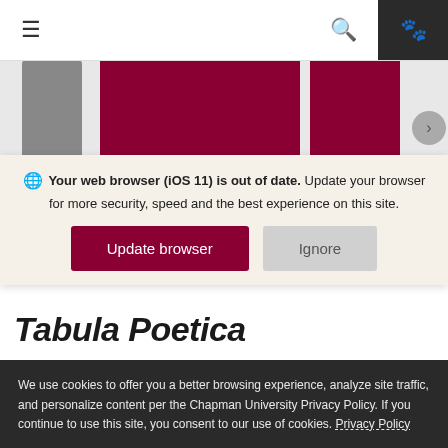≡  🔍  🐾
[Figure (screenshot): Hero banner area with dark red/burgundy rectangular image blocks and a gray thumbnail strip]
🌐 Your web browser (iOS 11) is out of date. Update your browser for more security, speed and the best experience on this site.
Update browser   Ignore
Tabula Poetica
Join us for live-streaming of all our events for Fall 2020 on the Tabula
We use cookies to offer you a better browsing experience, analyze site traffic, and personalize content per the Chapman University Privacy Policy. If you continue to use this site, you consent to our use of cookies. Privacy Policy